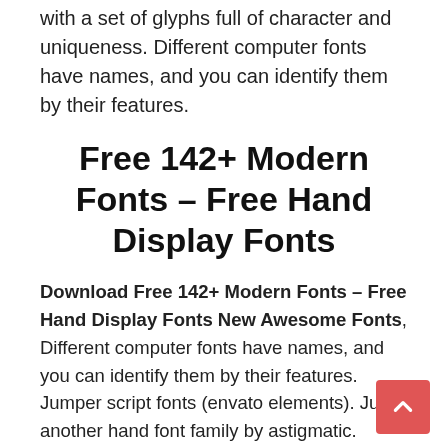with a set of glyphs full of character and uniqueness. Different computer fonts have names, and you can identify them by their features.
Free 142+ Modern Fonts – Free Hand Display Fonts
Download Free 142+ Modern Fonts – Free Hand Display Fonts New Awesome Fonts, Different computer fonts have names, and you can identify them by their features. Jumper script fonts (envato elements). Just another hand font family by astigmatic.